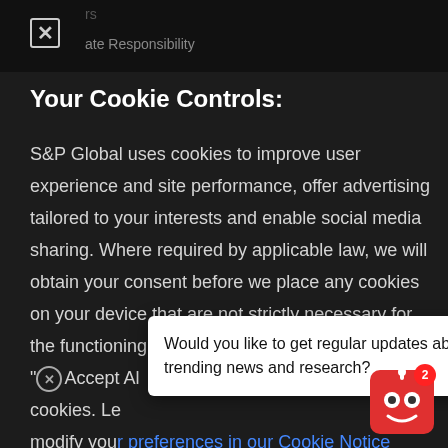ate Responsibility
Your Cookie Controls:
S&P Global uses cookies to improve user experience and site performance, offer advertising tailored to your interests and enable social media sharing. Where required by applicable law, we will obtain your consent before we place any cookies on your device that are not strictly necessary for the functioning of our websites. By clicking "Accept All" cookies. Le… modify your preferences in our Cookie Notice
Would you like to get regular updates about trending news and research?